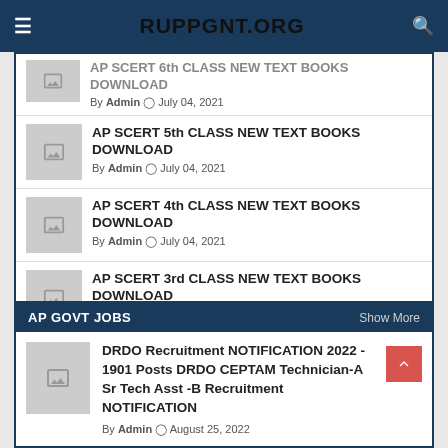RUPPGNT.ORG
AP SCERT 6th CLASS NEW TEXT BOOKS DOWNLOAD — By Admin, July 04, 2021
AP SCERT 5th CLASS NEW TEXT BOOKS DOWNLOAD — By Admin, July 04, 2021
AP SCERT 4th CLASS NEW TEXT BOOKS DOWNLOAD — By Admin, July 04, 2021
AP SCERT 3rd CLASS NEW TEXT BOOKS DOWNLOAD — By Admin, July 04, 2021
AP GOVT JOBS
DRDO Recruitment NOTIFICATION 2022 - 1901 Posts DRDO CEPTAM Technician-A Sr Tech Asst -B Recruitment NOTIFICATION — By Admin, August 25, 2022